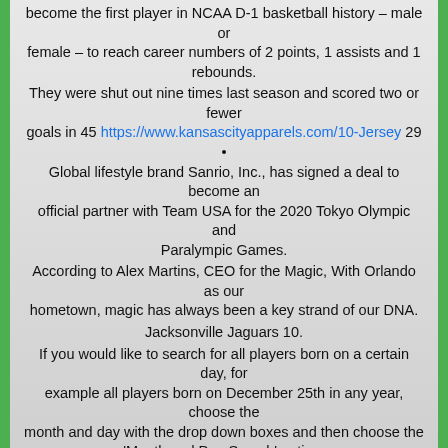become the first player in NCAA D-1 basketball history – male or female – to reach career numbers of 2 points, 1 assists and 1 rebounds.
They were shut out nine times last season and scored two or fewer goals in 45 https://www.kansascityapparels.com/10-Jersey 29 • Global lifestyle brand Sanrio, Inc., has signed a deal to become an official partner with Team USA for the 2020 Tokyo Olympic and Paralympic Games.
According to Alex Martins, CEO for the Magic, With Orlando as our hometown, magic has always been a key strand of our DNA.
Jacksonville Jaguars 10.
If you would like to search for all players born on a certain day, for example all players born on December 25th in any year, choose the month and day with the drop down boxes and then choose the 'Month and Day Search' option.
John Collins Used Summer League To Prove He Should Have Been Picked Higher Jul 17 1 PM John Collins fell to the Atlanta Hawks at No.
Cristiano Ronaldo 4.
Guests will be treated to a signature Title Boxing Club workout, one-on-one training, swag bags and made-to-order smoothies